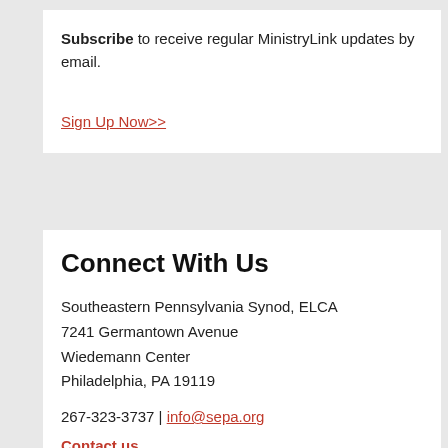Subscribe to receive regular MinistryLink updates by email.
Sign Up Now>>
Connect With Us
Southeastern Pennsylvania Synod, ELCA
7241 Germantown Avenue
Wiedemann Center
Philadelphia, PA 19119
267-323-3737 | info@sepa.org
Contact us